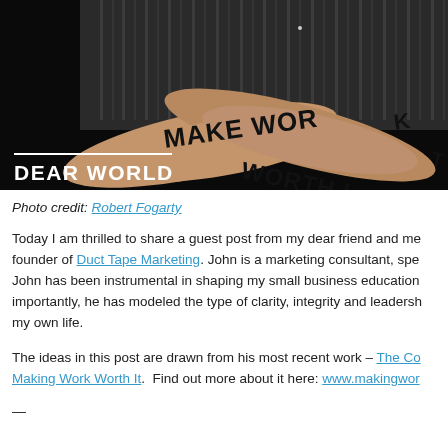[Figure (photo): Person with crossed arms, text written on forearms reading 'MAKE WORK WORTH IT', with 'DEAR WORLD' logo overlay at bottom left]
Photo credit: Robert Fogarty
Today I am thrilled to share a guest post from my dear friend and me founder of Duct Tape Marketing. John is a marketing consultant, spe John has been instrumental in shaping my small business education importantly, he has modeled the type of clarity, integrity and leadersh my own life.
The ideas in this post are drawn from his most recent work – The Co Making Work Worth It. Find out more about it here: www.makingwor
—